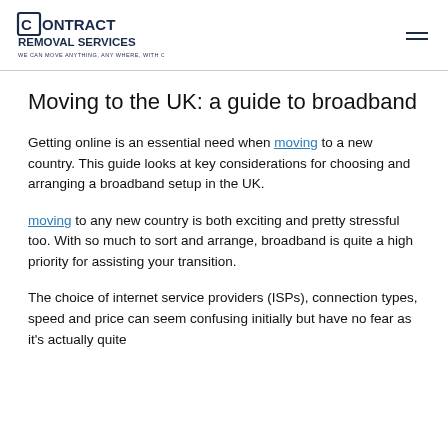Contract Removal Services — WE CAN MOVE ANYTHING, ANY WHERE, WITH CARE!!
Moving to the UK: a guide to broadband
Getting online is an essential need when moving to a new country. This guide looks at key considerations for choosing and arranging a broadband setup in the UK.
moving to any new country is both exciting and pretty stressful too. With so much to sort and arrange, broadband is quite a high priority for assisting your transition.
The choice of internet service providers (ISPs), connection types, speed and price can seem confusing initially but have no fear as it's actually quite